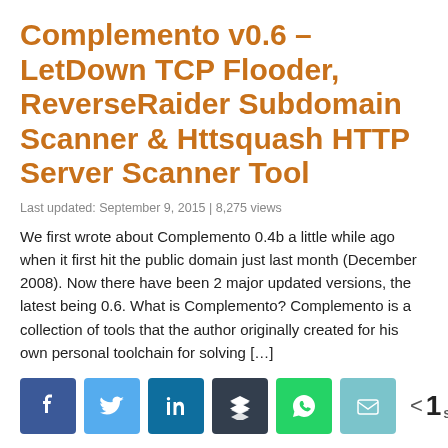Complemento v0.6 – LetDown TCP Flooder, ReverseRaider Subdomain Scanner & Httsquash HTTP Server Scanner Tool
Last updated: September 9, 2015 | 8,275 views
We first wrote about Complemento 0.4b a little while ago when it first hit the public domain just last month (December 2008). Now there have been 2 major updated versions, the latest being 0.6. What is Complemento? Complemento is a collection of tools that the author originally created for his own personal toolchain for solving […]
[Figure (infographic): Share buttons row: Facebook (blue), Twitter (light blue), LinkedIn (dark blue), Buffer/layers (dark gray), WhatsApp (green), Email (light blue/teal). Share count: < 1 SHARES]
Topic: Hacking Tools, Networking Hacking Tools, Web Hacking